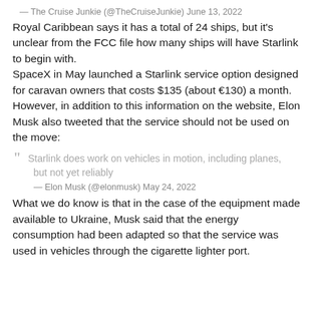— The Cruise Junkie (@TheCruiseJunkie) June 13, 2022
Royal Caribbean says it has a total of 24 ships, but it's unclear from the FCC file how many ships will have Starlink to begin with.
SpaceX in May launched a Starlink service option designed for caravan owners that costs $135 (about €130) a month. However, in addition to this information on the website, Elon Musk also tweeted that the service should not be used on the move:
Starlink does work on vehicles in motion, including planes, but not yet reliably
— Elon Musk (@elonmusk) May 24, 2022
What we do know is that in the case of the equipment made available to Ukraine, Musk said that the energy consumption had been adapted so that the service was used in vehicles through the cigarette lighter port.